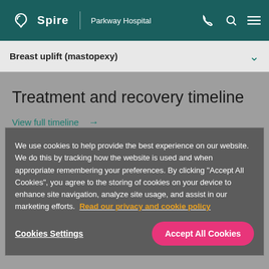Spire | Parkway Hospital
Breast uplift (mastopexy)
Treatment and recovery timeline
View full timeline →
We use cookies to help provide the best experience on our website. We do this by tracking how the website is used and when appropriate remembering your preferences. By clicking "Accept All Cookies", you agree to the storing of cookies on your device to enhance site navigation, analyze site usage, and assist in our marketing efforts. Read our privacy and cookie policy
Cookies Settings
Accept All Cookies